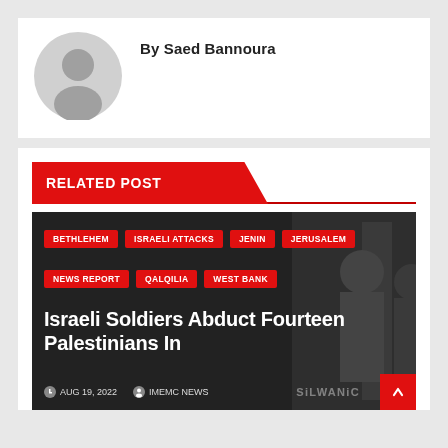By Saed Bannoura
[Figure (illustration): Default grey avatar/profile photo placeholder icon]
RELATED POST
[Figure (photo): Dark photograph of people, overlaid with tags: BETHLEHEM, ISRAELI ATTACKS, JENIN, JERUSALEM, NEWS REPORT, QALQILIA, WEST BANK. Article title: Israeli Soldiers Abduct Fourteen Palestinians In. Date: AUG 19, 2022. Author: IMEMC NEWS. Watermark: SiLWANiC]
Israeli Soldiers Abduct Fourteen Palestinians In
AUG 19, 2022  IMEMC NEWS